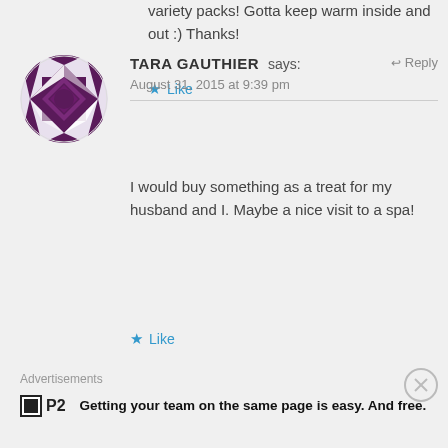variety packs! Gotta keep warm inside and out :) Thanks!
★ Like
[Figure (illustration): Circular avatar with purple diamond/gem pattern design on white background]
TARA GAUTHIER says:
↩ Reply
August 31, 2015 at 9:39 pm
I would buy something as a treat for my husband and I. Maybe a nice visit to a spa!
★ Like
Advertisements
Getting your team on the same page is easy. And free.